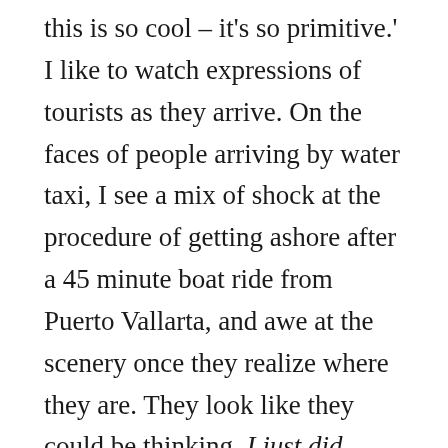this is so cool – it's so primitive.' I like to watch expressions of tourists as they arrive. On the faces of people arriving by water taxi, I see a mix of shock at the procedure of getting ashore after a 45 minute boat ride from Puerto Vallarta, and awe at the scenery once they realize where they are. They look like they could be thinking, I just did something adventurous. And indeed they have, when compared to their sheltered lives back home. The expressions are a little different on tourists whose boats run ashore. These people cheer and clap and maybe screech at the adventure of being